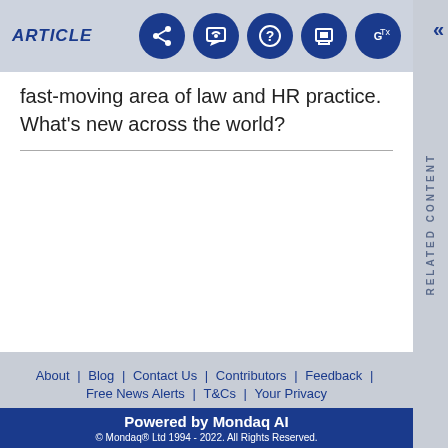ARTICLE
fast-moving area of law and HR practice. What's new across the world?
About | Blog | Contact Us | Contributors | Feedback | Free News Alerts | T&Cs | Your Privacy
Powered by Mondaq AI © Mondaq® Ltd 1994 - 2022. All Rights Reserved.